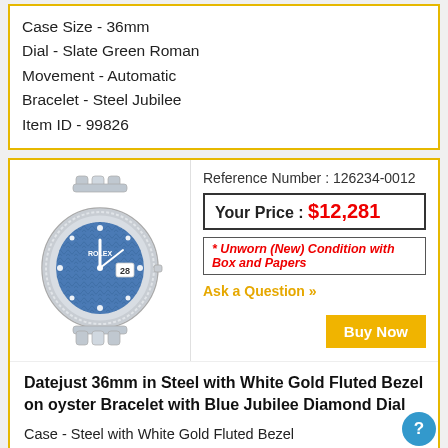Case Size - 36mm
Dial - Slate Green Roman
Movement - Automatic
Bracelet - Steel Jubilee
Item ID - 99826
Reference Number : 126234-0012
Your Price : $12,281
* Unworn (New) Condition with Box and Papers
Ask a Question »
[Figure (photo): Rolex Datejust 36mm watch with blue jubilee diamond dial, white gold fluted bezel, steel case and jubilee bracelet]
Buy Now
Datejust 36mm in Steel with White Gold Fluted Bezel on oyster Bracelet with Blue Jubilee Diamond Dial
Case - Steel with White Gold Fluted Bezel
Case Size - 36mm
Dial - Blue Jubilee Diamond
Movement - Automatic
Bracelet - Steel oyster